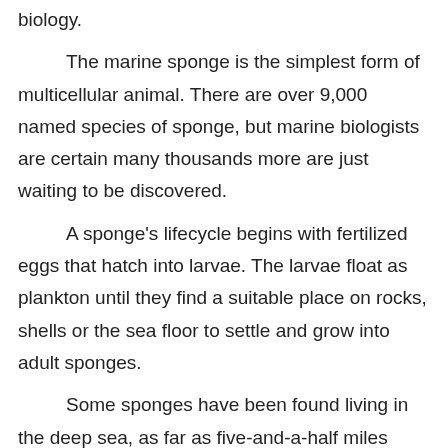biology.
The marine sponge is the simplest form of multicellular animal. There are over 9,000 named species of sponge, but marine biologists are certain many thousands more are just waiting to be discovered.
A sponge's lifecycle begins with fertilized eggs that hatch into larvae. The larvae float as plankton until they find a suitable place on rocks, shells or the sea floor to settle and grow into adult sponges.
Some sponges have been found living in the deep sea, as far as five-and-a-half miles below the ocean's surface.